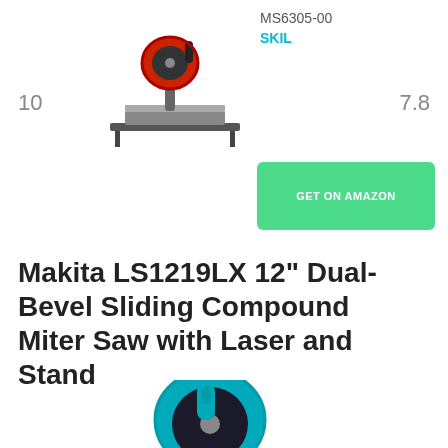10
MS6305-00
SKIL
7.8
[Figure (photo): Photo of a SKIL miter saw (red and black)]
GET ON AMAZON
Makita LS1219LX 12" Dual-Bevel Sliding Compound Miter Saw with Laser and Stand
[Figure (photo): Photo of a Makita LS1219LX teal/blue miter saw with stand, partially visible]